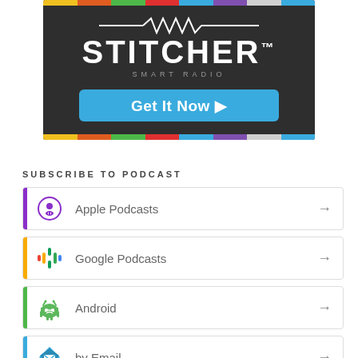[Figure (logo): Stitcher Smart Radio banner advertisement with colorful top and bottom bars, dark background, white STITCHER logo, SMART RADIO subtitle, and a blue 'Get It Now ▶' button]
SUBSCRIBE TO PODCAST
Apple Podcasts
Google Podcasts
Android
by Email